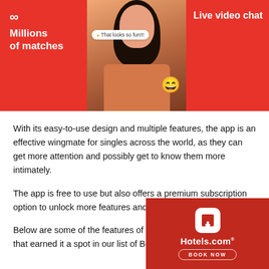[Figure (screenshot): App promotional banner with red background showing: left panel with infinity symbol and 'Millions of matches' text, center panel with woman's photo and a chat bubble saying 'That looks so fun!!!', emoji face, right panel with 'Live video chat' text]
With its easy-to-use design and multiple features, the app is an effective wingmate for singles across the world, as they can get more attention and possibly get to know them more intimately.
The app is free to use but also offers a premium subscription option to unlock more features and boost your profile.
Below are some of the features of the Twoo Stranger Chat App that earned it a spot in our list of Best Stranger Chat Apps.
[Figure (logo): Hotels.com advertisement with red background, white Hotels.com logo icon, Hotels.com wordmark, and BOOK NOW button]